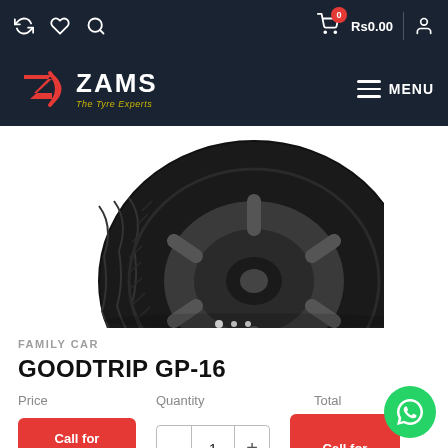ZAMS The Tyre Experts — top navigation bar with icons and cart showing Rs0.00
[Figure (photo): Close-up photograph of a car tyre (Goodtrip GP-16) showing tread pattern and alloy wheel, partially cropped from top]
FAMILY CAR
GOODTRIP GP-16
Price    Quantity    Total
Call for price    -  1  +    Call for